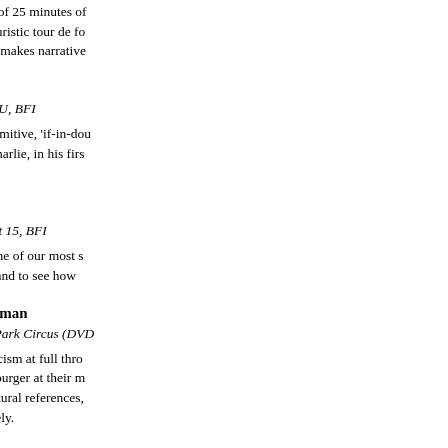The utterly unlooked-for discovery of 25 minutes of footage in Buenos Aires gives us Lang's futuristic tour de fo... still pretty sappy, but at least now it makes narrative...
Chaplin at Keystone
Various directors, USA, 1914; Cert U, BFI
Okay, the humour's of the crude, primitive, 'if-in-dou... stamp – but it's fascinating to see Charlie, in his firs... learning on the job.
Bronco Bullfrog
Barney Platts-Mills, UK, 1969; Cert 15, BFI
Good to have the debut feature of one of our most s... back again, handsomely restored – and to see how...
Pandora and the Flying Dutchman
Albert Lewin, GB, 1950; Cert PG, Park Circus (DVD...
For thunderous, overblown romanticism at full thro... doomed love rivals Powell & Pressburger at their m... almost sinks under its weight of cultural references,... Ava Gardner is heartbreakingly lovely.
The Frantisek Vlácil Collection
Czechoslovakia, 1967-69 and 2003; Cert 15, Secon...
One of the great forgotten names of the Czech Ne... this well-presented four-disc set: two powerful medi... and The Valley of the Bees, and the equally stark...